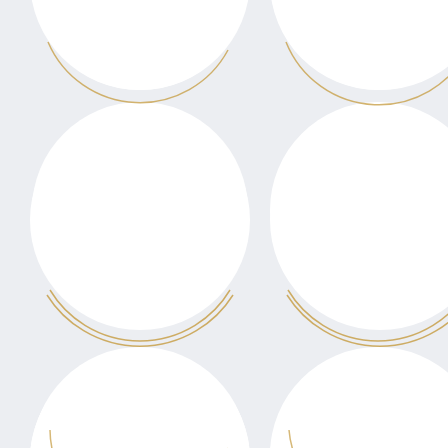[Figure (illustration): Decorative pattern of white circles with golden crescent/arc outlines arranged in a 2-column grid on a light gray-blue background. Circles are partially cropped at edges. The pattern shows approximately 3 rows of 2 circles each, with additional partial circles at top and bottom edges.]